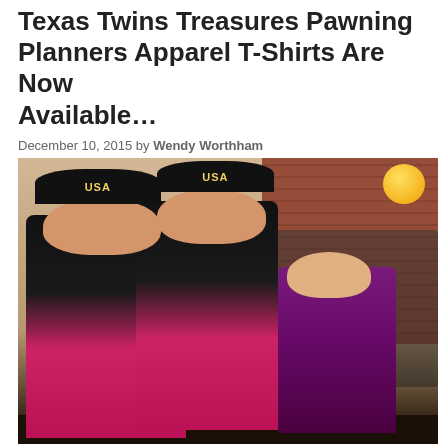Texas Twins Treasures Pawning Planners Apparel T-Shirts Are Now Available…
December 10, 2015 by Wendy Worthham
[Figure (photo): Three young girls posing together indoors at what appears to be a party. The two older girls on the left wear black sparkly tank tops, pink/magenta tutu skirts, and black USA baseball caps. The smaller girl on the right wears a purple sleeveless dress. In the background are adults near a table with food and drinks, brick walls, and yellow balloons.]